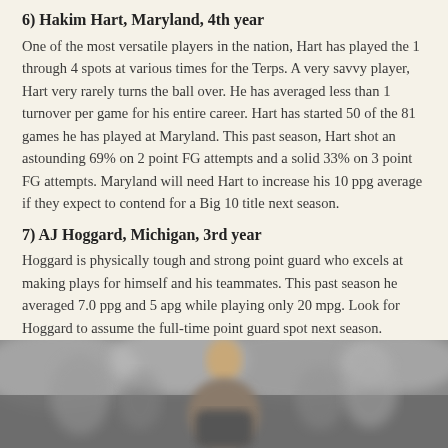6) Hakim Hart, Maryland, 4th year
One of the most versatile players in the nation, Hart has played the 1 through 4 spots at various times for the Terps. A very savvy player, Hart very rarely turns the ball over. He has averaged less than 1 turnover per game for his entire career. Hart has started 50 of the 81 games he has played at Maryland. This past season, Hart shot an astounding 69% on 2 point FG attempts and a solid 33% on 3 point FG attempts. Maryland will need Hart to increase his 10 ppg average if they expect to contend for a Big 10 title next season.
7) AJ Hoggard, Michigan, 3rd year
Hoggard is physically tough and strong point guard who excels at making plays for himself and his teammates. This past season he averaged 7.0 ppg and 5 apg while playing only 20 mpg. Look for Hoggard to assume the full-time point guard spot next season. Heading into his 3rd season in Tom Izzo's system, Hoggard appears primed to emerge as one of the top point guards in the Big 10 conference.
[Figure (photo): A blurry/out-of-focus photo showing a person (likely a basketball player) with a blurred crowd in the background.]